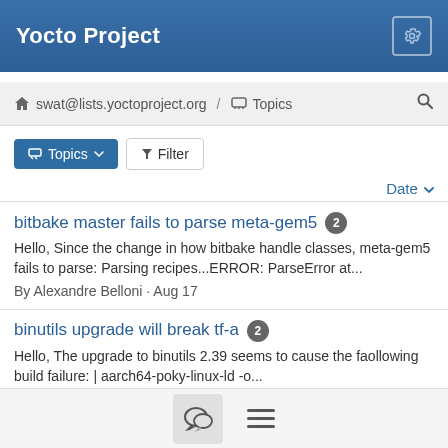Yocto Project
swat@lists.yoctoproject.org / Topics
Topics ▼   Filter
Date ▼
bitbake master fails to parse meta-gem5 2
Hello, Since the change in how bitbake handle classes, meta-gem5 fails to parse: Parsing recipes...ERROR: ParseError at...
By Alexandre Belloni · Aug 17
binutils upgrade will break tf-a 2
Hello, The upgrade to binutils 2.39 seems to cause the faollowing build failure: | aarch64-poky-linux-ld -o...
By Alexandre Belloni · Aug 17